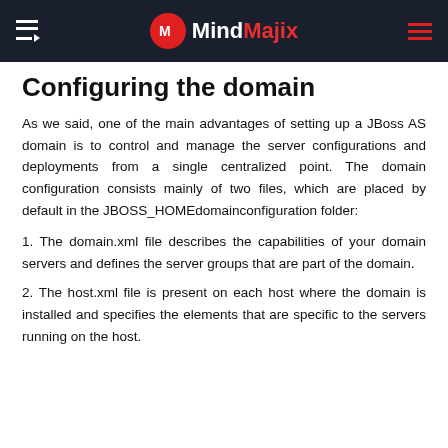MindMajix
Configuring the domain
As we said, one of the main advantages of setting up a JBoss AS domain is to control and manage the server configurations and deployments from a single centralized point. The domain configuration consists mainly of two files, which are placed by default in the JBOSS_HOMEdomainconfiguration folder:
1. The domain.xml file describes the capabilities of your domain servers and defines the server groups that are part of the domain.
2. The host.xml file is present on each host where the domain is installed and specifies the elements that are specific to the servers running on the host.